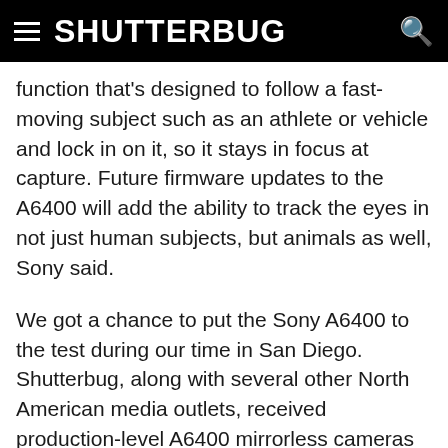SHUTTERBUG
function that's designed to follow a fast-moving subject such as an athlete or vehicle and lock in on it, so it stays in focus at capture. Future firmware updates to the A6400 will add the ability to track the eyes in not just human subjects, but animals as well, Sony said.
We got a chance to put the Sony A6400 to the test during our time in San Diego. Shutterbug, along with several other North American media outlets, received production-level A6400 mirrorless cameras to shoot with at a variety of Sony-arranged set-ups featuring models, performers and professional athletes, over the course of a few days.